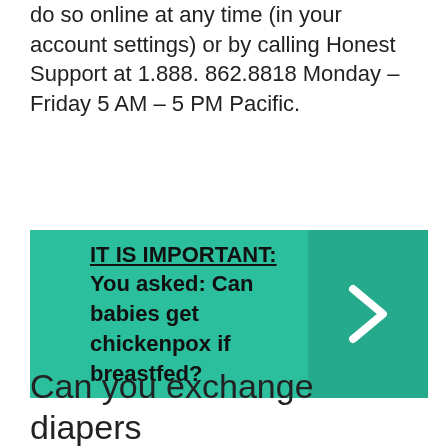do so online at any time (in your account settings) or by calling Honest Support at 1.888. 862.8818 Monday – Friday 5 AM – 5 PM Pacific.
[Figure (infographic): Teal banner with bold text: IT IS IMPORTANT: You asked: Can babies get chickenpox if breastfed? with a right-arrow chevron on a darker teal panel on the right side.]
Can you exchange diapers